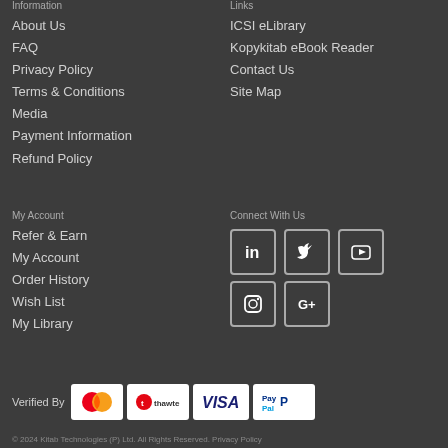Information
About Us
FAQ
Privacy Policy
Terms & Conditions
Media
Payment Information
Refund Policy
Links
ICSI eLibrary
Kopykitab eBook Reader
Contact Us
Site Map
My Account
Refer & Earn
My Account
Order History
Wish List
My Library
Connect With Us
[Figure (infographic): Social media icons: LinkedIn, Twitter, YouTube, Instagram, Google+]
Verified By
[Figure (infographic): Payment badges: MasterCard, Thawte, VISA, PayPal]